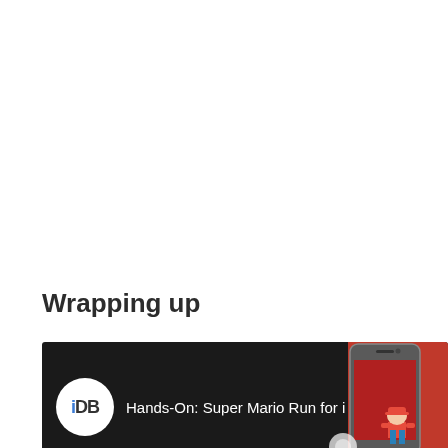Wrapping up
[Figure (screenshot): YouTube-style video thumbnail card with dark background. Shows iDB (iDownloadBlog) logo as white circle with 'iDB' text on left, video title 'Hands-On: Super Mario Run for iPhon...' in white text in center, three-dot menu icon on right, and a phone/Mario game image on the far right. Below is a faded reflection of the card.]